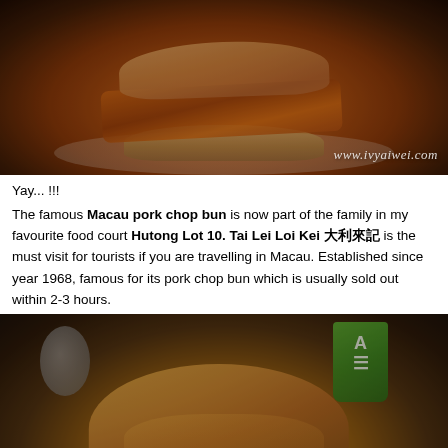[Figure (photo): Close-up photo of a Macau pork chop bun on a white plate — a thick crispy fried pork chop sandwiched between a bun. Watermark 'www.ivyaiwei.com' in bottom right.]
Yay... !!!
The famous Macau pork chop bun is now part of the family in my favourite food court Hutong Lot 10. Tai Lei Loi Kei 大利來記 is the must visit for tourists if you are travelling in Macau. Established since year 1968, famous for its pork chop bun which is usually sold out within 2-3 hours.
[Figure (photo): Close-up photo of a golden baked pork chop bun from below, with a gray cup (metal) on the left and a green takeaway cup with logo on the right in the background.]